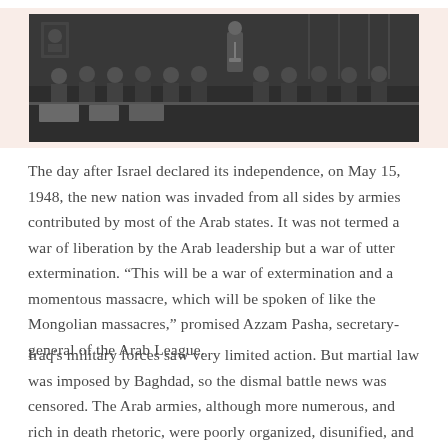[Figure (photo): Black and white photograph of a formal meeting or assembly, showing many men in suits seated at a long table, with one man standing and speaking at a microphone.]
The day after Israel declared its independence, on May 15, 1948, the new nation was invaded from all sides by armies contributed by most of the Arab states. It was not termed a war of liberation by the Arab leadership but a war of utter extermination. “This will be a war of extermination and a momentous massacre, which will be spoken of like the Mongolian massacres,” promised Azzam Pasha, secretary-general of the Arab League.
Iraq's military forces saw very limited action. But martial law was imposed by Baghdad, so the dismal battle news was censored. The Arab armies, although more numerous, and rich in death rhetoric, were poorly organized, disunified, and militarily unprepared. Israel was not defeated. The UN